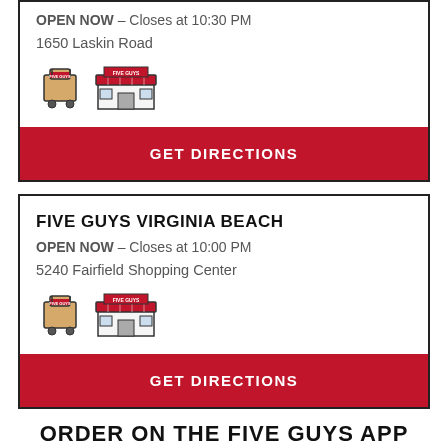OPEN NOW – Closes at 10:30 PM
1650 Laskin Road
[Figure (illustration): Delivery bag icon and store front icon]
GET DIRECTIONS
FIVE GUYS VIRGINIA BEACH
OPEN NOW – Closes at 10:00 PM
5240 Fairfield Shopping Center
[Figure (illustration): Delivery bag icon and store front icon]
GET DIRECTIONS
ORDER ON THE FIVE GUYS APP